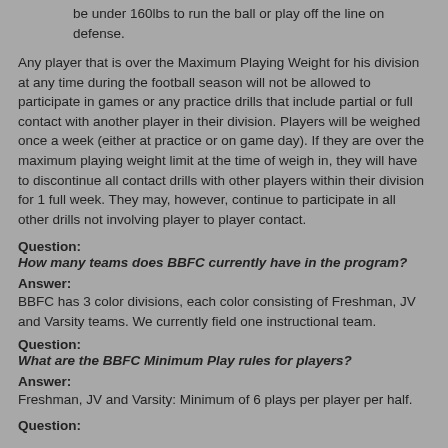be under 160lbs to run the ball or play off the line on defense.
Any player that is over the Maximum Playing Weight for his division at any time during the football season will not be allowed to participate in games or any practice drills that include partial or full contact with another player in their division.  Players will be weighed once a week (either at practice or on game day).  If they are over the maximum playing weight limit at the time of weigh in, they will have to discontinue all contact drills with other players within their division for 1 full week.  They may, however, continue to participate in all other drills not involving player to player contact.
Question:
How many teams does BBFC currently have in the program?
Answer:
BBFC has 3 color divisions, each color consisting of Freshman, JV and Varsity teams.  We currently field one instructional team.
Question:
What are the BBFC Minimum Play rules for players?
Answer:
Freshman, JV and Varsity: Minimum of 6 plays per player per half.
Question: